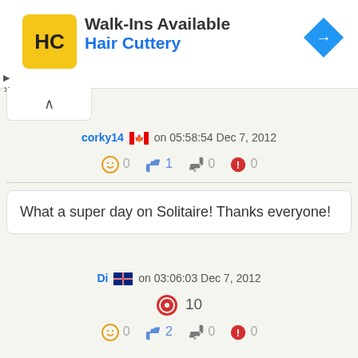[Figure (other): Hair Cuttery advertisement banner with logo, 'Walk-Ins Available' text, and navigation arrow icon]
corky14 🇨🇦 on 05:58:54 Dec 7, 2012
😊 0   👍 1   👎 0   ⚠ 0
What a super day on Solitaire! Thanks everyone!
Di 🇦🇺 on 03:06:03 Dec 7, 2012
🔴 10
😊 0   👍 2   👎 0   ⚠ 0